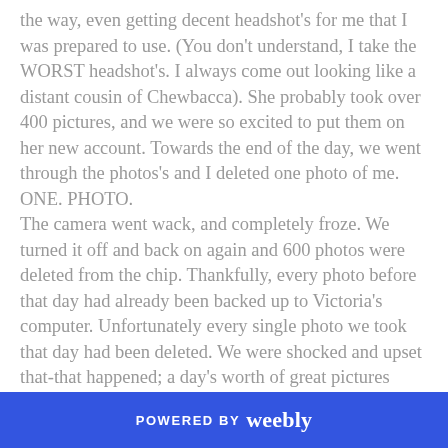the way, even getting decent headshot's for me that I was prepared to use. (You don't understand, I take the WORST headshot's. I always come out looking like a distant cousin of Chewbacca). She probably took over 400 pictures, and we were so excited to put them on her new account. Towards the end of the day, we went through the photos's and I deleted one photo of me. ONE. PHOTO. The camera went wack, and completely froze. We turned it off and back on again and 600 photos were deleted from the chip. Thankfully, every photo before that day had already been backed up to Victoria's computer. Unfortunately every single photo we took that day had been deleted. We were shocked and upset that-that happened; a day's worth of great pictures were all gone. However, after thinking it over, we both realized that almost the only thing we did all day was take photos
POWERED BY weebly